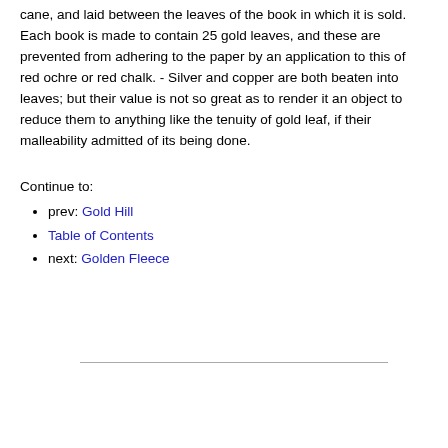cane, and laid between the leaves of the book in which it is sold. Each book is made to contain 25 gold leaves, and these are prevented from adhering to the paper by an application to this of red ochre or red chalk. - Silver and copper are both beaten into leaves; but their value is not so great as to render it an object to reduce them to anything like the tenuity of gold leaf, if their malleability admitted of its being done.
Continue to:
prev: Gold Hill
Table of Contents
next: Golden Fleece